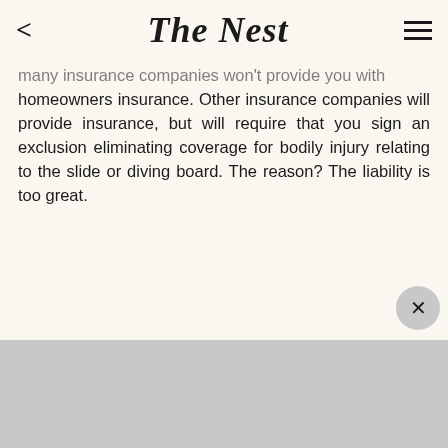The Nest
many insurance companies won't provide you with homeowners insurance. Other insurance companies will provide insurance, but will require that you sign an exclusion eliminating coverage for bodily injury relating to the slide or diving board. The reason? The liability is too great.